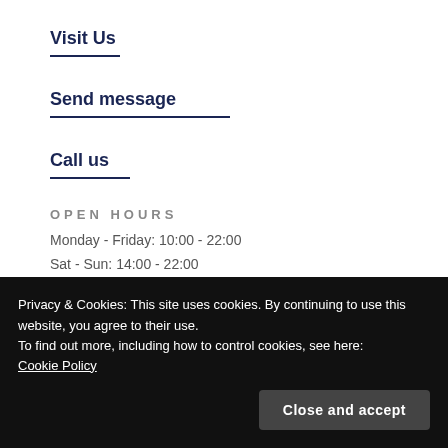Visit Us
Send message
Call us
OPEN HOURS
Monday - Friday: 10:00 - 22:00
Sat - Sun: 14:00 - 22:00
Privacy & Cookies: This site uses cookies. By continuing to use this website, you agree to their use.
To find out more, including how to control cookies, see here: Cookie Policy
Close and accept